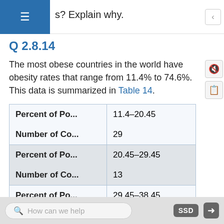s? Explain why.
Q 2.8.14
The most obese countries in the world have obesity rates that range from 11.4% to 74.6%. This data is summarized in Table 14.
| Percent of Po... | Number of Co... |
| --- | --- |
| Percent of Po... | 11.4–20.45 |
| Number of Co... | 29 |
| Percent of Po... | 20.45–29.45 |
| Number of Co... | 13 |
| Percent of Po... | 29.45–38.45 |
| Number of Co... | 4 |
How can we help